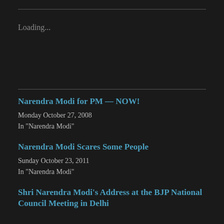Loading...
Narendra Modi for PM — NOW!
Monday October 27, 2008
In "Narendra Modi"
Narendra Modi Scares Some People
Sunday October 23, 2011
In "Narendra Modi"
Shri Narendra Modi's Address at the BJP National Council Meeting in Delhi